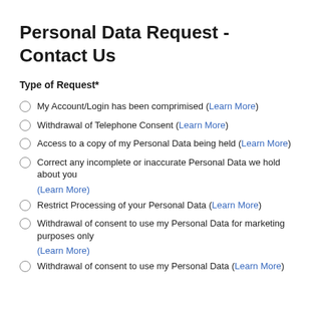Personal Data Request - Contact Us
Type of Request*
My Account/Login has been comprimised (Learn More)
Withdrawal of Telephone Consent (Learn More)
Access to a copy of my Personal Data being held (Learn More)
Correct any incomplete or inaccurate Personal Data we hold about you (Learn More)
Restrict Processing of your Personal Data (Learn More)
Withdrawal of consent to use my Personal Data for marketing purposes only (Learn More)
Withdrawal of consent to use my Personal Data (Learn More)